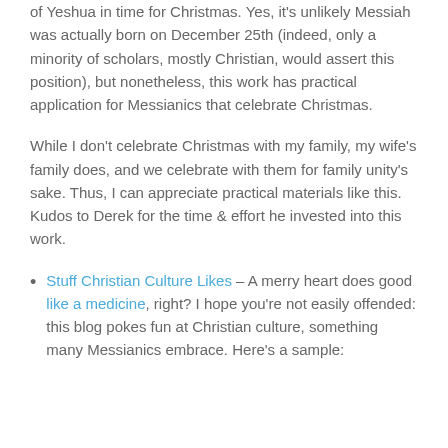of Yeshua in time for Christmas. Yes, it's unlikely Messiah was actually born on December 25th (indeed, only a minority of scholars, mostly Christian, would assert this position), but nonetheless, this work has practical application for Messianics that celebrate Christmas.
While I don't celebrate Christmas with my family, my wife's family does, and we celebrate with them for family unity's sake. Thus, I can appreciate practical materials like this. Kudos to Derek for the time & effort he invested into this work.
Stuff Christian Culture Likes – A merry heart does good like a medicine, right? I hope you're not easily offended: this blog pokes fun at Christian culture, something many Messianics embrace. Here's a sample: